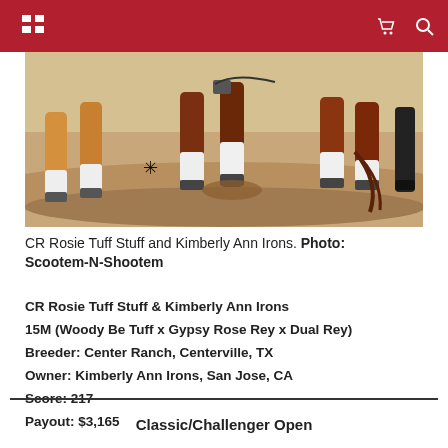[Figure (photo): Close-up photo of horse legs in an arena, showing hooves and white leg wraps kicking up dirt during a reining competition.]
CR Rosie Tuff Stuff and Kimberly Ann Irons. Photo: Scootem-N-Shootem
CR Rosie Tuff Stuff & Kimberly Ann Irons
15M (Woody Be Tuff x Gypsy Rose Rey x Dual Rey)
Breeder: Center Ranch, Centerville, TX
Owner: Kimberly Ann Irons, San Jose, CA
Score: 217
Payout: $3,165
Classic/Challenger Open